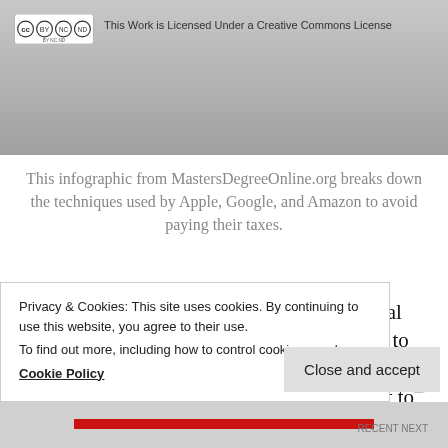[Figure (infographic): Top portion of an infographic with a Creative Commons license badge and text reading: This Work is Licensed Under a Creative Commons License. Gray gradient background.]
This infographic from MastersDegreeOnline.org breaks down the techniques used by Apple, Google, and Amazon to avoid paying their taxes.
Consumers are empowered with their digital tools. It only takes a simple internet search to uncover truths about a product, and discerning customers can quickly find out if they want to support a company. Authenticity will never belong to big
Privacy & Cookies: This site uses cookies. By continuing to use this website, you agree to their use.
To find out more, including how to control cookies, see here:
Cookie Policy
Close and accept